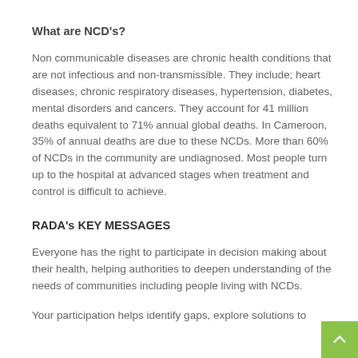What are NCD's?
Non communicable diseases are chronic health conditions that are not infectious and non-transmissible. They include; heart diseases, chronic respiratory diseases, hypertension, diabetes, mental disorders and cancers. They account for 41 million deaths equivalent to 71% annual global deaths. In Cameroon, 35% of annual deaths are due to these NCDs. More than 60% of NCDs in the community are undiagnosed. Most people turn up to the hospital at advanced stages when treatment and control is difficult to achieve.
RADA's KEY MESSAGES
Everyone has the right to participate in decision making about their health, helping authorities to deepen understanding of the needs of communities including people living with NCDs.
Your participation helps identify gaps, explore solutions to